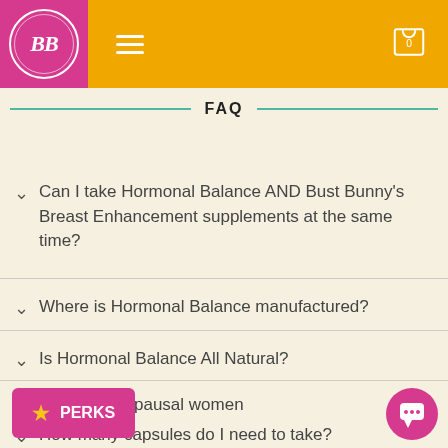[Figure (logo): BB logo on pink/magenta square background with circular border]
FAQ
Can I take Hormonal Balance AND Bust Bunny's Breast Enhancement supplements at the same time?
Where is Hormonal Balance manufactured?
Is Hormonal Balance All Natural?
...ve for Perimenopausal women
How many capsules do I need to take?